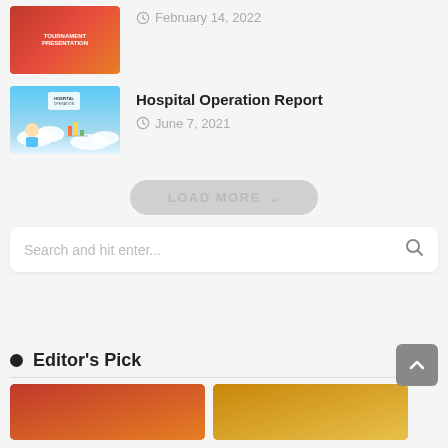[Figure (screenshot): Tournament presentation thumbnail - red/orange gradient background with basketball]
February 14, 2022
[Figure (screenshot): Hospital Operation Report presentation thumbnail - blue sky background with cartoon character]
Hospital Operation Report
June 7, 2021
LOAD MORE
Search and hit enter...
Editor's Pick
[Figure (screenshot): Editor's Pick left thumbnail - red/orange gradient]
[Figure (screenshot): Editor's Pick right thumbnail - golden/yellow gradient]